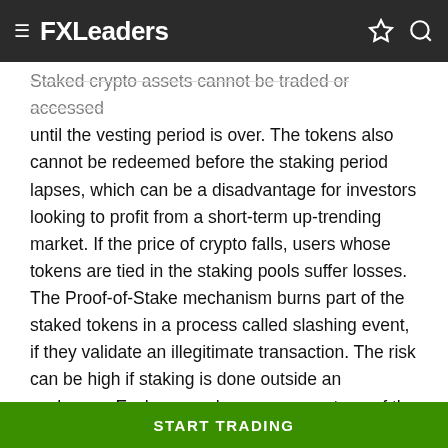FXLeaders
Staked crypto assets cannot be traded or accessed until the vesting period is over. The tokens also cannot be redeemed before the staking period lapses, which can be a disadvantage for investors looking to profit from a short-term up-trending market. If the price of crypto falls, users whose tokens are tied in the staking pools suffer losses. The Proof-of-Stake mechanism burns part of the staked tokens in a process called slashing event, if they validate an illegitimate transaction. The risk can be high if staking is done outside an exchange. Exchanges charge a percentage of the staked assets as fees.
Auto compounding staking rewards
START TRADING